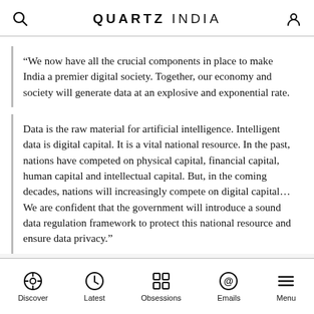QUARTZ INDIA
“We now have all the crucial components in place to make India a premier digital society. Together, our economy and society will generate data at an explosive and exponential rate.
Data is the raw material for artificial intelligence. Intelligent data is digital capital. It is a vital national resource. In the past, nations have competed on physical capital, financial capital, human capital and intellectual capital. But, in the coming decades, nations will increasingly compete on digital capital… We are confident that the government will introduce a sound data regulation framework to protect this national resource and ensure data privacy.”
Discover | Latest | Obsessions | Emails | Menu